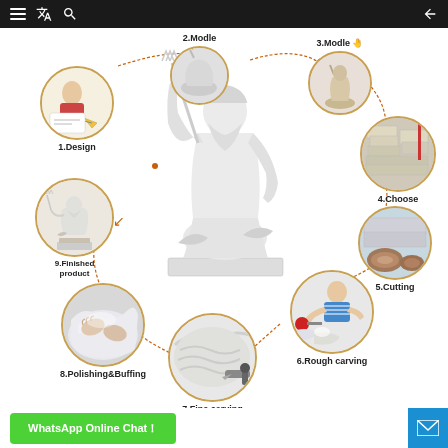Navigation bar with menu, translate, search, and back icons
[Figure (infographic): Marble statue manufacturing process infographic showing 9 steps arranged around a central Neptune/Poseidon marble statue. Steps: 1.Design, 2.Modle, 3.Modle, 4.Choose, 5.Cutting, 6.Rough carving, 7.Fine carving, 8.Polishing&Buffing, 9.Finished product. Each step has a circular photo and label connected by dashed arrows.]
WhatsApp Online Chat ! | mail icon